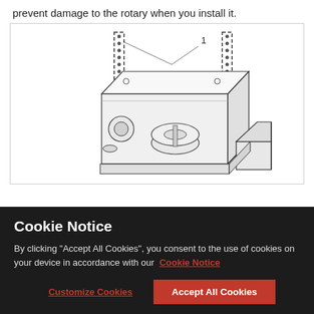prevent damage to the rotary when you install it.
[Figure (engineering-diagram): Technical line drawing of a rotary mechanism/device shown in isometric view. Two vertical chains or tracks (labeled 1) hang from above, attached to a rectangular housing unit. Inside the housing, a motor and a circular disc/rotary component (labeled 2) are visible. The assembly sits on a base with a separate block to the right.]
Cookie Notice

By clicking "Accept All Cookies", you consent to the use of cookies on your device in accordance with our Cookie Notice
Customize Cookies
Accept All Cookies